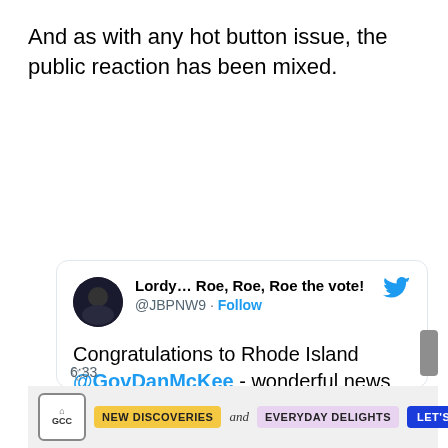And as with any hot button issue, the public reaction has been mixed.
[Figure (screenshot): Embedded tweet from @JBPNW9 (display name: Lordy... Roe, Roe, Roe the vote!) congratulating Rhode Island @GovDanMcKee on gun laws and thanking @SenWhitehouse, posted at 6:33, with an advertisement banner at the bottom for GCC: NEW DISCOVERIES and EVERYDAY DELIGHTS LET'S GO]